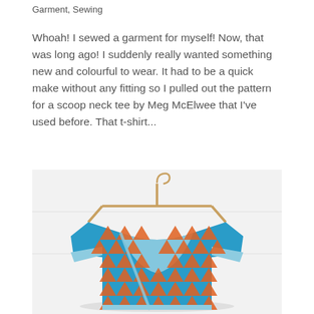Garment, Sewing
Whoah! I sewed a garment for myself! Now, that was long ago! I suddenly really wanted something new and colourful to wear. It had to be a quick make without any fitting so I pulled out the pattern for a scoop neck tee by Meg McElwee that I've used before. That t-shirt...
[Figure (photo): A colorful t-shirt with blue and orange triangle pattern hanging on a wooden hanger against a white wall background.]